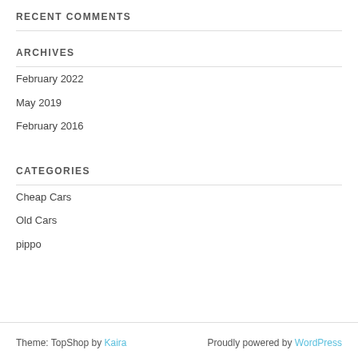RECENT COMMENTS
ARCHIVES
February 2022
May 2019
February 2016
CATEGORIES
Cheap Cars
Old Cars
pippo
Theme: TopShop by Kaira    Proudly powered by WordPress